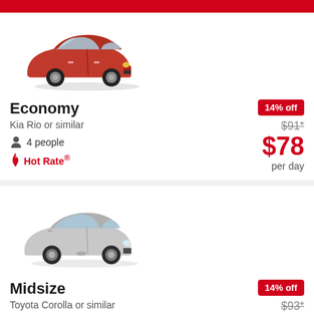[Figure (photo): Red Kia Rio sedan, 3/4 front view]
Economy
Kia Rio or similar
4 people
Hot Rate
14% off
$91*
$78
per day
[Figure (photo): Silver Toyota Corolla sedan, 3/4 front view]
Midsize
Toyota Corolla or similar
4 people
Hot Rate
14% off
$93*
$80
per day